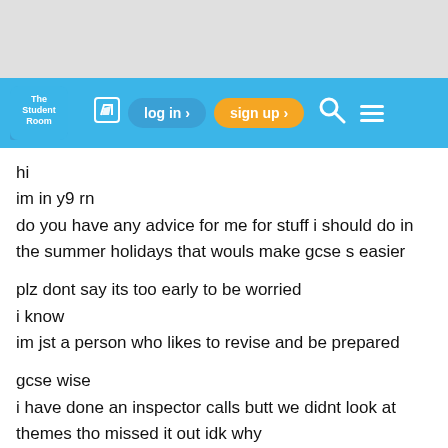[Figure (screenshot): Gray banner area at top of page]
The Student Room — navigation bar with log in and sign up buttons
hi
im in y9 rn
do you have any advice for me for stuff i should do in the summer holidays that wouls make gcse s easier

plz dont say its too early to be worried
i know
im jst a person who likes to revise and be prepared

gcse wise
i have done an inspector calls butt we didnt look at themes tho missed it out idk why

im doing my rs gcse next year did a mock this week just in case i cant do the gcse in y10